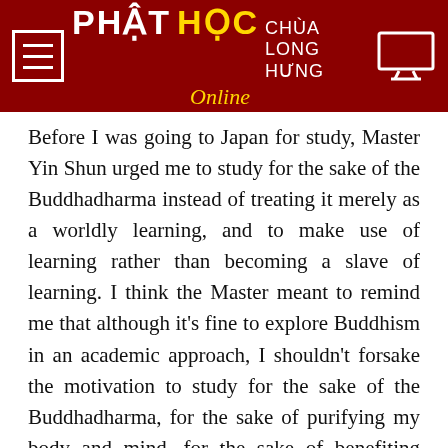PHẬT HỌC CHÙA LONG HƯNG Online
Before I was going to Japan for study, Master Yin Shun urged me to study for the sake of the Buddhadharma instead of treating it merely as a worldly learning, and to make use of learning rather than becoming a slave of learning. I think the Master meant to remind me that although it's fine to explore Buddhism in an academic approach, I shouldn't forsake the motivation to study for the sake of the Buddhadharma, for the sake of purifying my body and mind, for the sake of benefiting other sentient beings, and for the sake of spreading the Dharma in the correct sense. The Buddhadharma is meant for purifying and curing our body and mind; it is not about accumulation of knowledge. We can use the silkworm eating mulberry leaves as an example. There is no point in consuming mulberry leaves and producing the same mulberry leaves. Instead, they are expected to produce silk fiber, which is useful. It's a never-ending